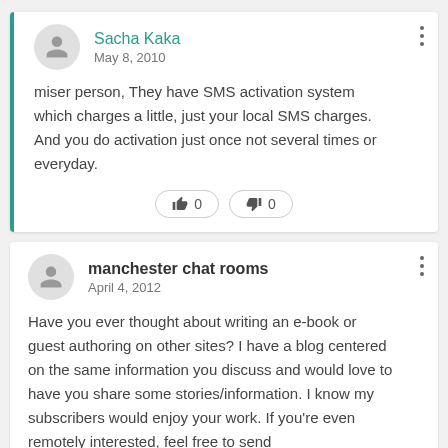Sacha Kaka
May 8, 2010
miser person, They have SMS activation system which charges a little, just your local SMS charges. And you do activation just once not several times or everyday.
👍 0  👎 0
manchester chat rooms
April 4, 2012
Have you ever thought about writing an e-book or guest authoring on other sites? I have a blog centered on the same information you discuss and would love to have you share some stories/information. I know my subscribers would enjoy your work. If you're even remotely interested, feel free to send